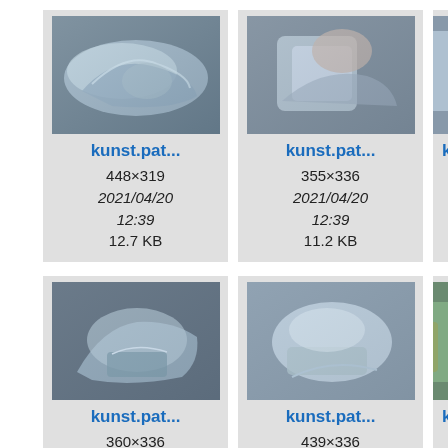[Figure (photo): Metallic abstract sculpture photo thumbnail. kunst.pat... 448×319 2021/04/20 12:39 12.7 KB]
[Figure (photo): Metallic abstract sculpture photo thumbnail. kunst.pat... 355×336 2021/04/20 12:39 11.2 KB]
[Figure (photo): Partially visible thumbnail card (cropped). kunst.pat... truncated]
[Figure (photo): Metallic abstract sculpture photo thumbnail. kunst.pat... 360×336 2021/04/20 12:39 10.2 KB]
[Figure (photo): Metallic abstract sculpture photo thumbnail. kunst.pat... 439×336 2021/04/20 12:39 13.6 KB]
[Figure (photo): Partially visible thumbnail card (cropped right edge). ku...]